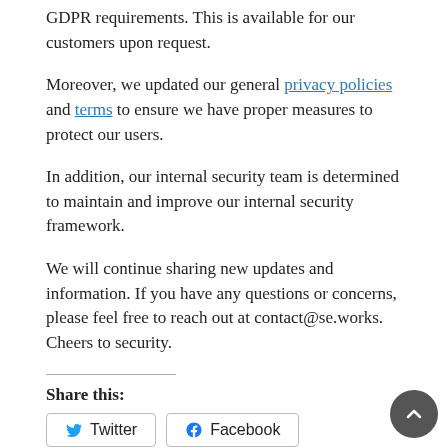GDPR requirements. This is available for our customers upon request.
Moreover, we updated our general privacy policies and terms to ensure we have proper measures to protect our users.
In addition, our internal security team is determined to maintain and improve our internal security framework.
We will continue sharing new updates and information. If you have any questions or concerns, please feel free to reach out at contact@se.works. Cheers to security.
Share this:
Twitter  Facebook
Categories: cybersecurity GDPR Mobile Application Security